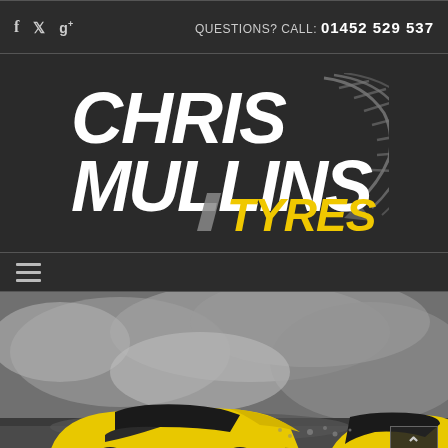QUESTIONS? CALL: 01452 529 537
[Figure (logo): Chris Mullins Tyres logo — white bold italic text 'CHRIS MULLINS' with tyre tread graphic, yellow bold 'TYRES' text]
[Figure (photo): Hero image: yellow sports car (Ferrari-style) drifting on a road with smoke/dust clouds, dramatic black and white background with car in color]